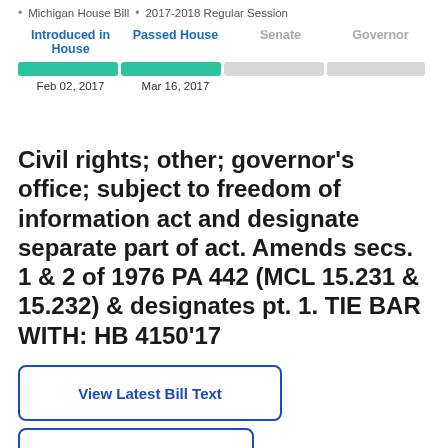Michigan House Bill • 2017-2018 Regular Session
[Figure (infographic): Legislative progress tracker with four stages: Introduced in House (Feb 02, 2017), Passed House (Mar 16, 2017), Senate (inactive), Governor (inactive). First two stages shown with teal filled bars, last two with grey empty bars.]
Civil rights; other; governor's office; subject to freedom of information act and designate separate part of act. Amends secs. 1 & 2 of 1976 PA 442 (MCL 15.231 & 15.232) & designates pt. 1. TIE BAR WITH: HB 4150'17
View Latest Bill Text
Sign In to Follow